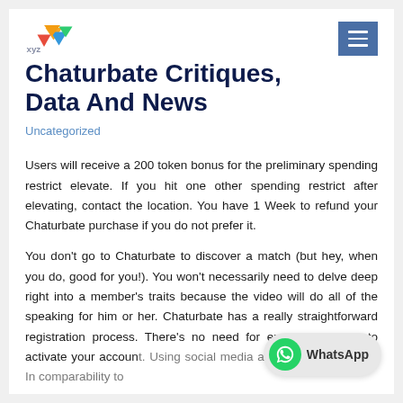Chaturbate Critiques, Data And News
Uncategorized
Users will receive a 200 token bonus for the preliminary spending restrict elevate. If you hit one other spending restrict after elevating, contact the location. You have 1 Week to refund your Chaturbate purchase if you do not prefer it.
You don't go to Chaturbate to discover a match (but hey, when you do, good for you!). You won't necessarily need to delve deep right into a member's traits because the video will do all of the speaking for him or her. Chaturbate has a really straightforward registration process. There's no need for email verification to activate your account. Using social media accounts to signal up. In comparability to